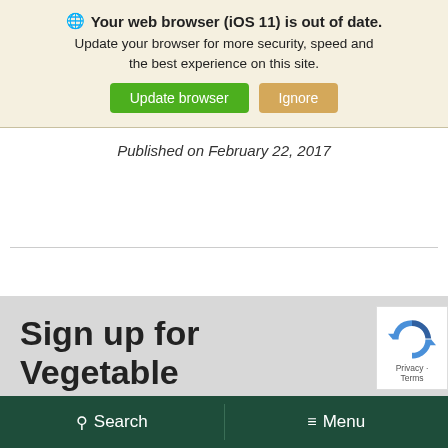Your web browser (iOS 11) is out of date. Update your browser for more security, speed and the best experience on this site. Update browser | Ignore
Published on February 22, 2017
Sign up for Vegetable
Search
Menu